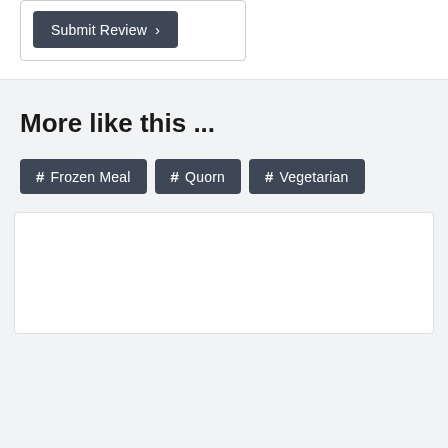[Figure (screenshot): Submit Review button with dark background and right arrow]
More like this ...
# Frozen Meal
# Quorn
# Vegetarian
[Figure (screenshot): White card/content box at the bottom of the page]